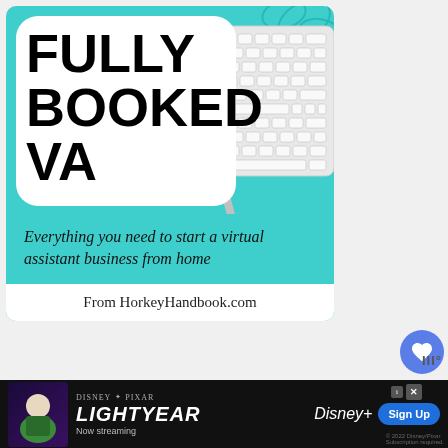[Figure (illustration): Book cover for 'Fully Booked VA' showing a teal background with a white keyboard and pen, large bold black text reading FULLY BOOKED VA, subtitle text reading 'Everything you need to start a virtual assistant business from home', and footer text 'From HorkeyHandbook.com']
FULLY BOOKED VA
Everything you need to start a virtual assistant business from home
From HorkeyHandbook.com
[Figure (screenshot): Disney Pixar Lightyear advertisement banner - 'Now streaming' with Sign Up button for Disney+]